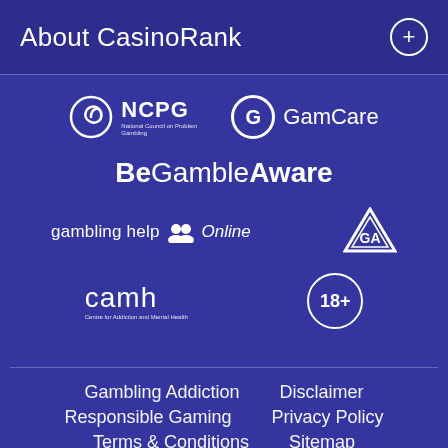About CasinoRank
[Figure (logo): NCPG - National Council on Problem Gambling spiral logo with text]
[Figure (logo): GamCare logo with G in circle]
[Figure (logo): BeGambleAware logo]
[Figure (logo): gambling help Online logo with people icon]
[Figure (logo): Gamblers Anonymous GA triangle logo]
[Figure (logo): camh - Centre for Addiction and Mental Health logo]
[Figure (logo): 18+ age restriction circle badge]
Gambling Addiction
Disclaimer
Responsible Gaming
Privacy Policy
Terms & Conditions
Sitemap